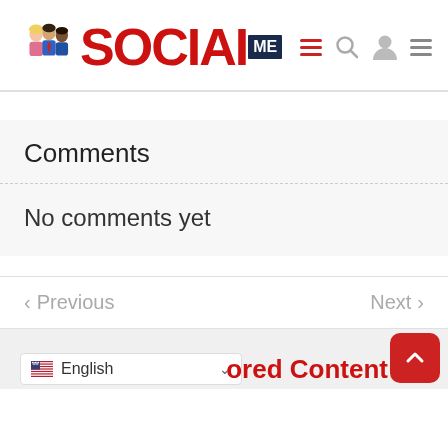[Figure (logo): SocialMe logo with cartoon people figures and navigation icons (hamburger menu, search, user, hamburger menu)]
Comments
No comments yet
< Previous   Next >
English
ored Content